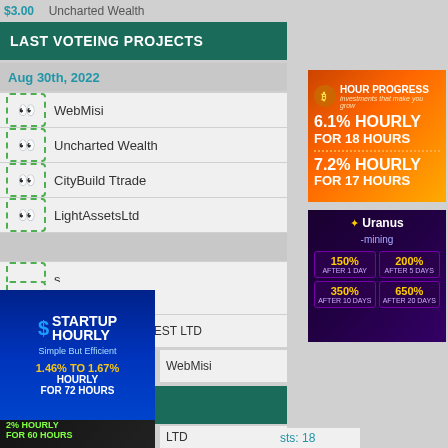$3.00  Uncharted Wealth
LAST VOTEING PROJECTS
Aug 30th, 2022
WebMisi
Uncharted Wealth
CityBuild Ttrade
LightAssetsLtd
[Figure (infographic): Victey ad: 2% HOURLY FOR 60 HOURS, 2.5% HOURLY FOR 50 HOURS]
Limited
TRUSTURN PULVEST LTD
WebMisi
[Figure (infographic): Startup Hourly ad: Simple But Efficient, 1.46% TO 1.67% HOURLY FOR 72 HOURS]
PROJECTS
LTD
sts: 18
[Figure (infographic): Hour Progress ad: 6.1% HOURLY FOR 18 HOURS, 7.2% HOURLY FOR 17 HOURS]
[Figure (infographic): Uranus Mining ad: 150% AFTER 1 DAY, 200% AFTER 5 DAYS, 350% AFTER 10 DAYS, 650% AFTER 20 DAYS]